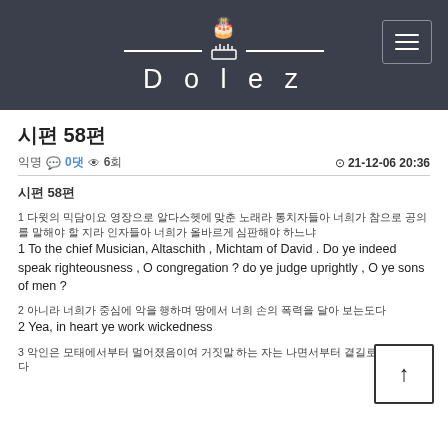Dolez
시편 58편
익명 💬 0댓 👁 6회   © 21-12-06 20:36
시편 58편
1 [한국어 본문] 1 To the chief Musician, Altaschith , Michtam of David . Do ye indeed speak righteousness , O congregation ? do ye judge uprightly , O ye sons of men ?
2 [한국어 본문] 2 Yea, in heart ye work wickedness
3 [한국어 본문]